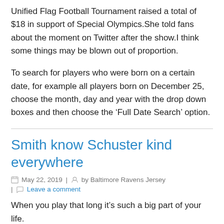Unified Flag Football Tournament raised a total of $18 in support of Special Olympics.She told fans about the moment on Twitter after the show.I think some things may be blown out of proportion.
To search for players who were born on a certain date, for example all players born on December 25, choose the month, day and year with the drop down boxes and then choose the ‘Full Date Search’ option.
Smith know Schuster kind everywhere
May 22, 2019 | by Baltimore Ravens Jersey | Leave a comment
When you play that long it’s such a big part of your life.